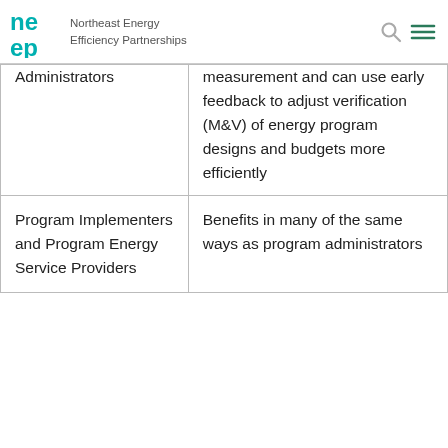Northeast Energy Efficiency Partnerships
| Administrators | measurement and can use early feedback to adjust verification (M&V) of energy program designs and budgets more efficiently |
| Program Implementers and Program Energy Service Providers | Benefits in many of the same ways as program administrators |